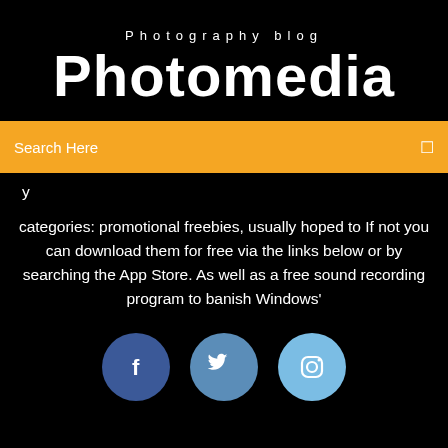Photography blog
Photomedia
Search Here
y
categories: promotional freebies, usually hoped to If not you can download them for free via the links below or by searching the App Store. As well as a free sound recording program to banish Windows'
[Figure (infographic): Three social media icons: Facebook (dark blue circle with 'f'), Twitter (medium blue circle with bird icon), Instagram (light blue circle with camera icon)]